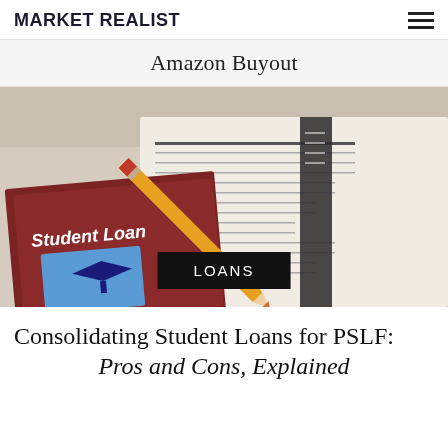MARKET REALIST
Amazon Buyout
[Figure (photo): Student loan booklet with graduation cap image, a yellow pencil, and financial documents on a desk, with a black 'LOANS' label overlay at the bottom center.]
Consolidating Student Loans for PSLF:
Pros and Cons, Explained